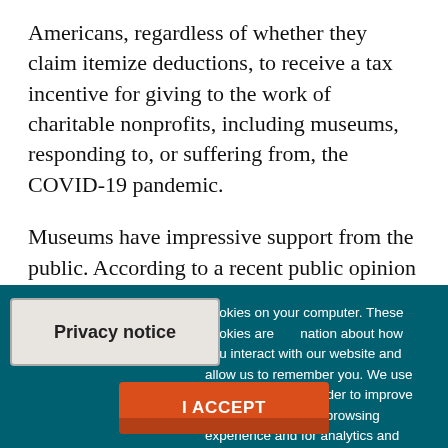Americans, regardless of whether they claim itemize deductions, to receive a tax incentive for giving to the work of charitable nonprofits, including museums, responding to, or suffering from, the COVID-19 pandemic.
Museums have impressive support from the public. According to a recent public opinion poll, 96% of Americans would think positively of their elected officials
Privacy notice
cookies on your computer. These cookies are nation about how you interact with our website and allow us to remember you. We use this information in order to improve and customize your browsing experience and for analytics and metrics about our visitors both on this website and other media. To find out more about the cookies we use, see our Privacy Policy.
I ACCEPT